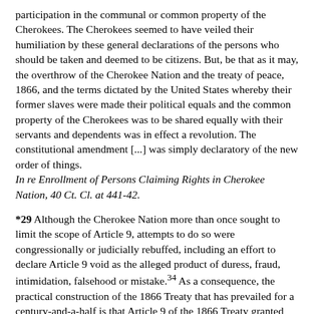participation in the communal or common property of the Cherokees. The Cherokees seemed to have veiled their humiliation by these general declarations of the persons who should be taken and deemed to be citizens. But, be that as it may, the overthrow of the Cherokee Nation and the treaty of peace, 1866, and the terms dictated by the United States whereby their former slaves were made their political equals and the common property of the Cherokees was to be shared equally with their servants and dependents was in effect a revolution. The constitutional amendment [...] was simply declaratory of the new order of things. In re Enrollment of Persons Claiming Rights in Cherokee Nation, 40 Ct. Cl. at 441-42.
*29 Although the Cherokee Nation more than once sought to limit the scope of Article 9, attempts to do so were congressionally or judicially rebuffed, including an effort to declare Article 9 void as the alleged product of duress, fraud, intimidation, falsehood or mistake.34 As a consequence, the practical construction of the 1866 Treaty that has prevailed for a century-and-a-half is that Article 9 of the 1866 Treaty granted qualifying